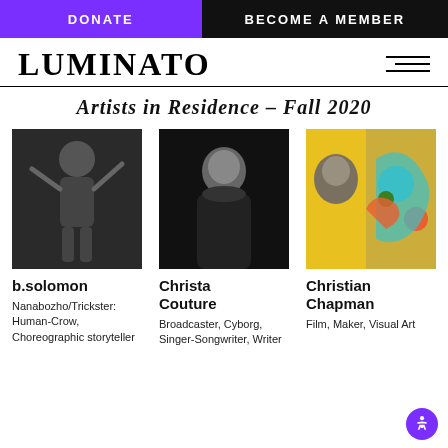DONATE   BECOME A MEMBER
LUMINATO
Artists in Residence – Fall 2020
[Figure (photo): Black and white photo of b.solomon, a dancer with arms raised against crumpled paper background]
b.solomon
Nanabozho/Trickster: Human-Crow, Choreographic storyteller
[Figure (photo): Black and white portrait of Christa Couture, wearing black turtleneck, hand near chin]
Christa Couture
Broadcaster, Cyborg, Singer-Songwriter, Writer
[Figure (photo): Photo of Christian Chapman beside colorful illustrated artwork with teal and orange figures on yellow background]
Christian Chapman
Film, Maker, Visual Art